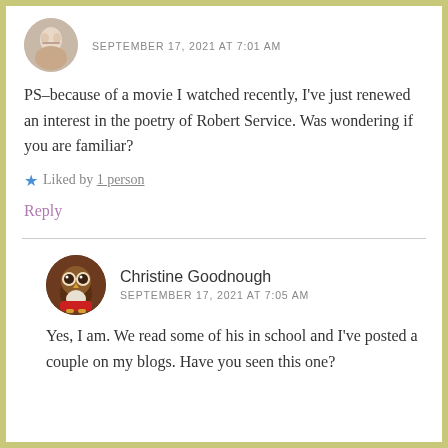SEPTEMBER 17, 2021 AT 7:01 AM
PS–because of a movie I watched recently, I've just renewed an interest in the poetry of Robert Service. Was wondering if you are familiar?
★ Liked by 1 person
Reply
Christine Goodnough
SEPTEMBER 17, 2021 AT 7:05 AM
Yes, I am. We read some of his in school and I've posted a couple on my blogs. Have you seen this one?